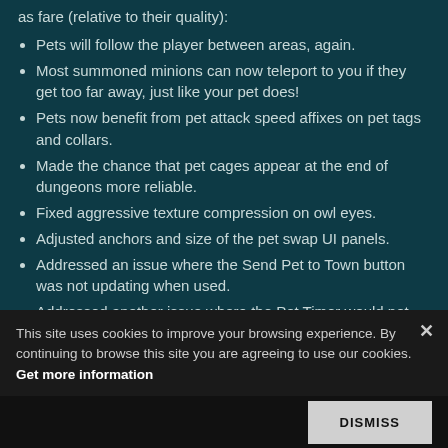as fare (relative to their quality):
Pets will follow the player between areas, again.
Most summoned minions can now teleport to you if they get too far away, just like your pet does!
Pets now benefit from pet attack speed affixes on pet tags and collars.
Made the chance that pet cages appear at the end of dungeons more reliable.
Fixed aggressive texture compression on owl eyes.
Adjusted anchors and size of the pet swap UI panels.
Addressed an issue where the Send Pet to Town button was not updating when used.
Addressed another issue where the Pet Timer would not begin when pet would die or be sent to town.
Pets no longer freeze in combat with Blackfang Spiders.
This site uses cookies to improve your browsing experience. By continuing to browse this site you are agreeing to use our cookies. Get more information
DISMISS